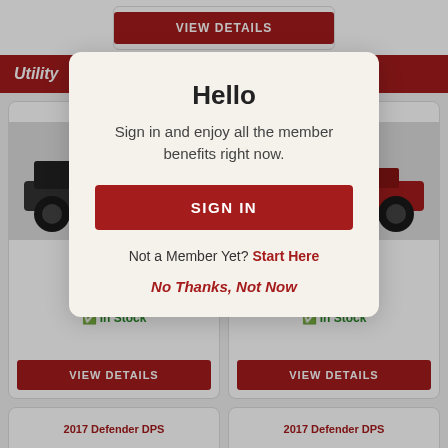[Figure (screenshot): Background webpage showing utility vehicle listings with a modal dialog overlay]
Hello
Sign in and enjoy all the member benefits right now.
SIGN IN
Not a Member Yet? Start Here
No Thanks, Not Now
Green
Can-Am
MSRP: $10,999
In Stock
VIEW DETAILS
Yellow
Can-Am
MSRP: $13,099
In Stock
VIEW DETAILS
2017 Defender DPS
2017 Defender DPS